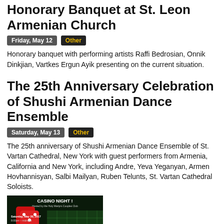Honorary Banquet at St. Leon Armenian Church
Friday, May 12
Other
Honorary banquet with performing artists Raffi Bedrosian, Onnik Dinkjian, Vartkes Ergun Ayik presenting on the current situation.
The 25th Anniversary Celebration of Shushi Armenian Dance Ensemble
Saturday, May 13
Other
The 25th anniversary of Shushi Armenian Dance Ensemble of St. Vartan Cathedral, New York with guest performers from Armenia, California and New York, including Andre, Yeva Yeganyan, Armen Hovhannisyan, Salbi Mailyan, Ruben Telunts, St. Vartan Cathedral Soloists.
[Figure (photo): Casino Night event flyer hosted by the Holy Martyrs Couples Club, Saturday May 20 2017, 8:00pm to midnight, with dice and card table imagery.]